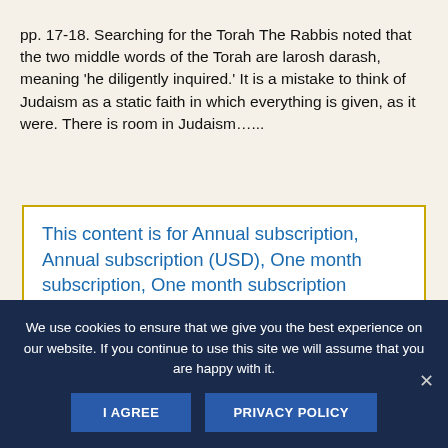pp. 17-18. Searching for the Torah The Rabbis noted that the two middle words of the Torah are larosh darash, meaning 'he diligently inquired.' It is a mistake to think of Judaism as a static faith in which everything is given, as it were. There is room in Judaism…...
This content is for Annual subscription, Annual subscription (USD), One month subscription, One month subscription (USD), Premium...
We use cookies to ensure that we give you the best experience on our website. If you continue to use this site we will assume that you are happy with it.
I AGREE
PRIVACY POLICY